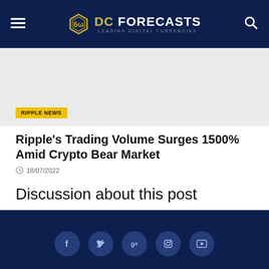DC Forecasts — Leading Digital Currencies
[Figure (other): Advertisement banner placeholder (gray background)]
RIPPLE NEWS
Ripple's Trading Volume Surges 1500% Amid Crypto Bear Market
18/07/2022
Discussion about this post
Social media icons: Facebook, Twitter, Google+, Instagram, YouTube